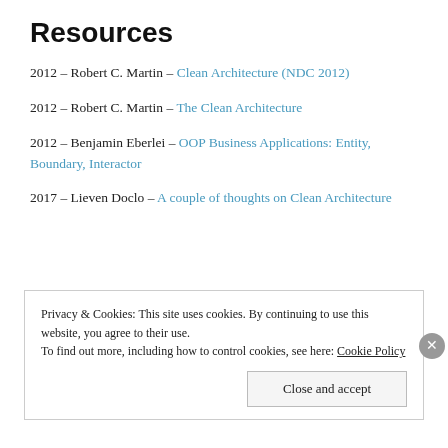Resources
2012 – Robert C. Martin – Clean Architecture (NDC 2012)
2012 – Robert C. Martin – The Clean Architecture
2012 – Benjamin Eberlei – OOP Business Applications: Entity, Boundary, Interactor
2017 – Lieven Doclo – A couple of thoughts on Clean Architecture
Privacy & Cookies: This site uses cookies. By continuing to use this website, you agree to their use. To find out more, including how to control cookies, see here: Cookie Policy